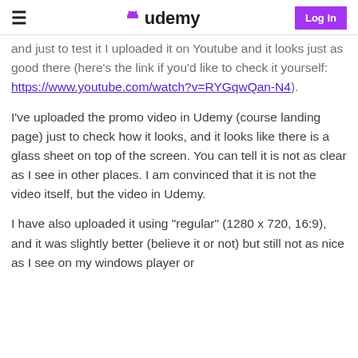Udemy | Log In
and just to test it I uploaded it on Youtube and it looks just as good there (here's the link if you'd like to check it yourself: https://www.youtube.com/watch?v=RYGqwQan-N4).
I've uploaded the promo video in Udemy (course landing page) just to check how it looks, and it looks like there is a glass sheet on top of the screen. You can tell it is not as clear as I see in other places. I am convinced that it is not the video itself, but the video in Udemy.
I have also uploaded it using "regular" (1280 x 720, 16:9), and it was slightly better (believe it or not) but still not as nice as I see on my windows player or